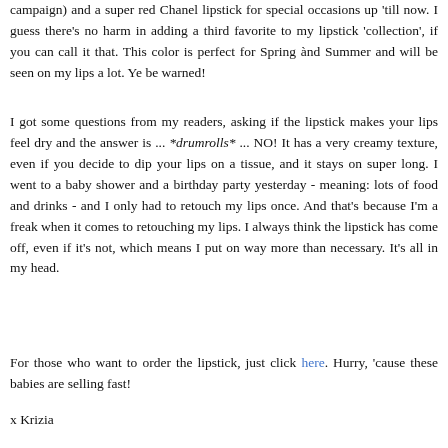campaign) and a super red Chanel lipstick for special occasions up 'till now. I guess there's no harm in adding a third favorite to my lipstick 'collection', if you can call it that. This color is perfect for Spring ànd Summer and will be seen on my lips a lot. Ye be warned!
I got some questions from my readers, asking if the lipstick makes your lips feel dry and the answer is ... *drumrolls* ... NO! It has a very creamy texture, even if you decide to dip your lips on a tissue, and it stays on super long. I went to a baby shower and a birthday party yesterday - meaning: lots of food and drinks - and I only had to retouch my lips once. And that's because I'm a freak when it comes to retouching my lips. I always think the lipstick has come off, even if it's not, which means I put on way more than necessary. It's all in my head.
For those who want to order the lipstick, just click here. Hurry, 'cause these babies are selling fast!
x Krizia